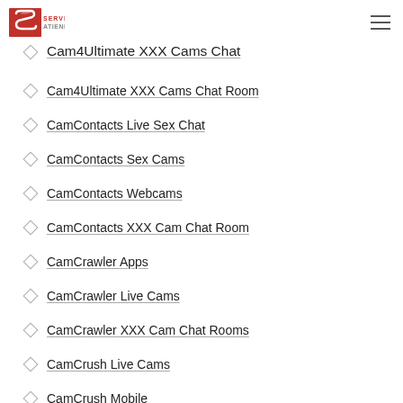ServíAtiende logo and hamburger menu
Cam4Ultimate XXX Cams Chat
Cam4Ultimate XXX Cams Chat Room
CamContacts Live Sex Chat
CamContacts Sex Cams
CamContacts Webcams
CamContacts XXX Cam Chat Room
CamCrawler Apps
CamCrawler Live Cams
CamCrawler XXX Cam Chat Rooms
CamCrush Live Cams
CamCrush Mobile
CamCrush Webcams
CamCrush XXX Cams Chat Room
CamDolls Apps
CamDolls Hot Cam Show
CamDolls Webcam Chat Rooms
CamDolls XXX Cams Chat